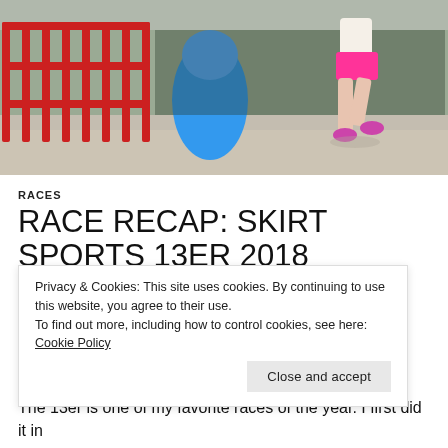[Figure (photo): Runner in pink shorts passing through a race course with red fences and a blue inflatable obstacle visible.]
RACES
RACE RECAP: SKIRT SPORTS 13ER 2018
JULY 2, 2018   2 COMMENTS
Privacy & Cookies: This site uses cookies. By continuing to use this website, you agree to their use. To find out more, including how to control cookies, see here: Cookie Policy
The 13er is one of my favorite races of the year. I first did it in